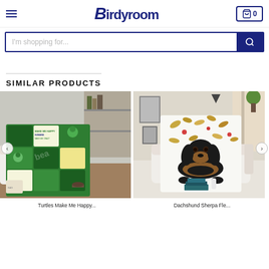Birdyroom — hamburger menu, logo, cart (0)
I'm shopping for...
SIMILAR PRODUCTS
[Figure (photo): Green turtle-themed blanket with cartoon turtles, motivational text panels, displayed on a white sofa in a living room setting]
[Figure (photo): Dachshund dog blanket with floral leaf pattern displayed over a white sofa in a cozy living room setting]
Turtles Make Me Happy...
Dachshund Sherpa Fle...